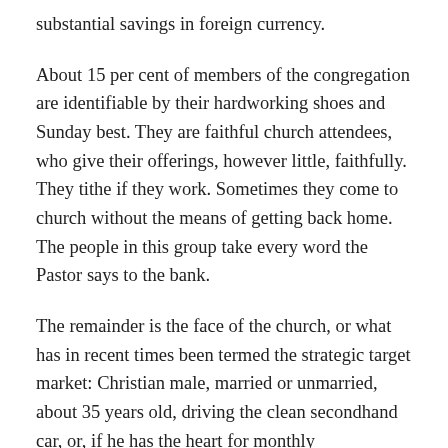substantial savings in foreign currency.
About 15 per cent of members of the congregation are identifiable by their hardworking shoes and Sunday best. They are faithful church attendees, who give their offerings, however little, faithfully. They tithe if they work. Sometimes they come to church without the means of getting back home. The people in this group take every word the Pastor says to the bank.
The remainder is the face of the church, or what has in recent times been termed the strategic target market: Christian male, married or unmarried, about 35 years old, driving the clean secondhand car, or, if he has the heart for monthly hirepurchase payments, the latest Volkswagen Passat or Bora. He makes a taxable income of several hundred-thousand naira a month, is able to afford a few middle-range suits and TM Lewin or Thomas Pink shirts,